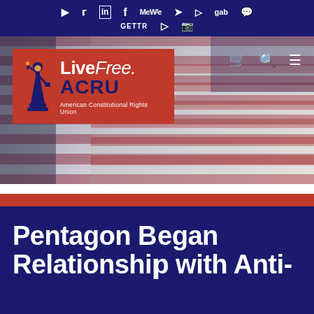Social media icons bar: YouTube, Twitter, LinkedIn, Facebook, MeWe, Telegram, Parler, gab, [chat], GETTR, Rumble, Instagram
[Figure (logo): ACRU LiveFree. American Constitutional Rights Union logo on red background, overlaid on American flag hero image with navigation icons (cart, search, menu)]
Pentagon Began Relationship with Anti-